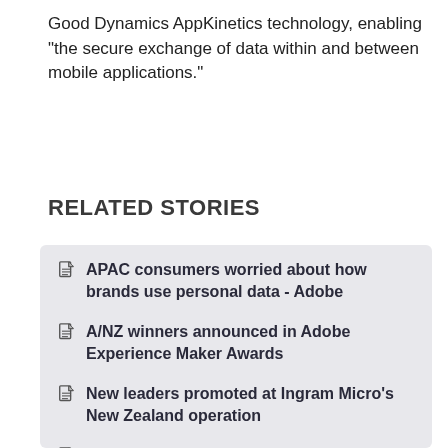Good Dynamics AppKinetics technology, enabling "the secure exchange of data within and between mobile applications."
RELATED STORIES
APAC consumers worried about how brands use personal data - Adobe
A/NZ winners announced in Adobe Experience Maker Awards
New leaders promoted at Ingram Micro's New Zealand operation
Marketplacer and Adobe accelerate partnership for enhanced commerce solutions
Adobe adds innovations and